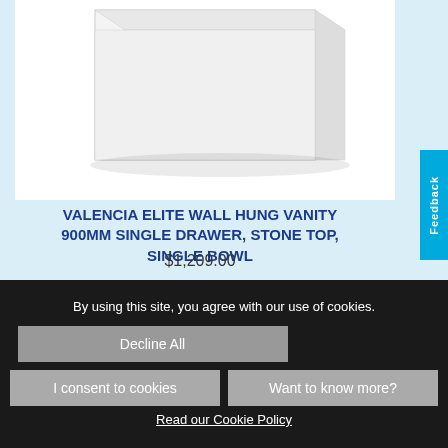[Figure (photo): Product image of a white bathroom vanity cabinet box/unit against a white background]
VALENCIA ELITE WALL HUNG VANITY 900MM SINGLE DRAWER, STONE TOP, SINGLE BOWL
$1,209.00
By using this site, you agree with our use of cookies.
Decline All
I consent to cookies
Want to know more?
Read our Cookie Policy